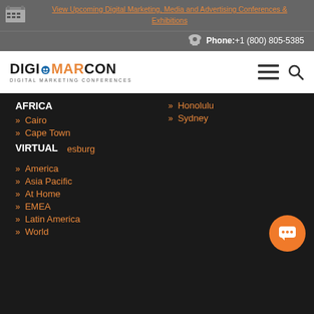View Upcoming Digital Marketing, Media and Advertising Conferences & Exhibitions
Phone: +1 (800) 805-5385
[Figure (logo): DigiMarCon Digital Marketing Conferences logo with hamburger menu and search icons]
AFRICA
Cairo
Cape Town
Johannesburg
VIRTUAL
America
Asia Pacific
At Home
EMEA
Latin America
World
Honolulu
Sydney